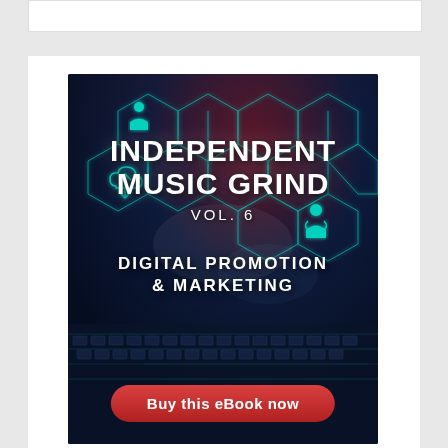[Figure (illustration): Book cover for 'Independent Music Grind Vol. 6 - Digital Promotion & Marketing' eBook, featuring a dark blue/purple background with glowing teal hexagon network graphics and technology icons. Large bold white text shows the title. A red rounded button at the bottom reads 'Buy this eBook now'.]